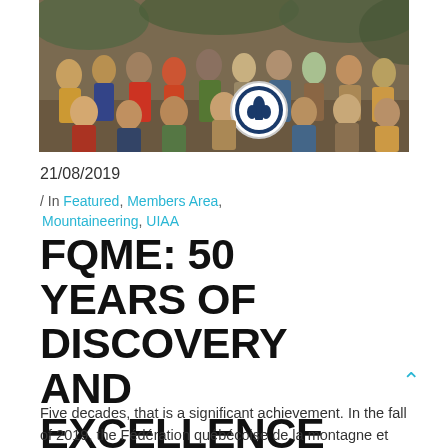[Figure (photo): Group photo of mountaineers/club members posing outdoors, with a Federation des Clubs de Montagne du Quebec circular logo badge visible in the center of the group. Vintage photo, approximately 1970s.]
21/08/2019
/ In Featured, Members Area, Mountaineering, UIAA
FQME: 50 YEARS OF DISCOVERY AND EXCELLENCE
Five decades, that is a significant achievement. In the fall of 2019, the Fédération québécoise de la montagne et de l'escalade (FQME)...